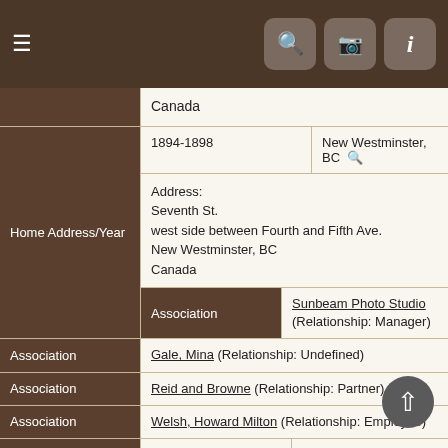[Figure (screenshot): Mobile app navigation bar with hamburger menu on left and search, camera, info icons on right, dark brown background]
| Field | Value |
| --- | --- |
|  | Canada |
| Home Address/Year | 1894-1898 | New Westminster, BC |
|  | Address: Seventh St. west side between Fourth and Fifth Ave. New Westminster, BC Canada |
| Association | Sunbeam Photo Studio (Relationship: Manager) |
| Association | Gale, Mina (Relationship: Undefined) |
| Association | Reid and Browne (Relationship: Partner) |
| Association | Welsh, Howard Milton (Relationship: Employee) |
| Person ID | I459 | Camera Workers | B, vol. 1, 1858-1900 |
| Last Modified | 2 Mar 2017 |
| Documents | Thumbnail | Link |
| --- | --- | --- |
| Documents | [thumbnail] | Sunbeam Photo and Art Company's ad, News-Advertiser (Vancouver), 1891 10 17. |
|  | [thumbnail] | Sunbeam Photo and Art Company's ad from the Williams Illustrated |